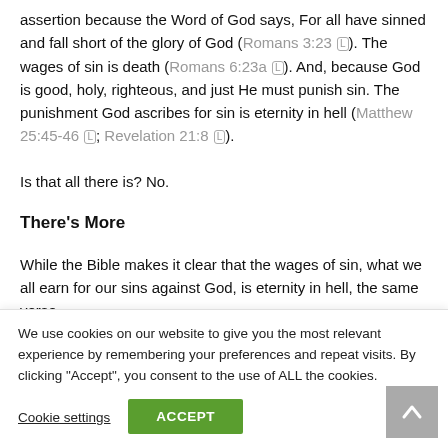assertion because the Word of God says, For all have sinned and fall short of the glory of God (Romans 3:23). The wages of sin is death (Romans 6:23a). And, because God is good, holy, righteous, and just He must punish sin. The punishment God ascribes for sin is eternity in hell (Matthew 25:45-46; Revelation 21:8).
Is that all there is? No.
There's More
While the Bible makes it clear that the wages of sin, what we all earn for our sins against God, is eternity in hell, the same verse
We use cookies on our website to give you the most relevant experience by remembering your preferences and repeat visits. By clicking "Accept", you consent to the use of ALL the cookies.